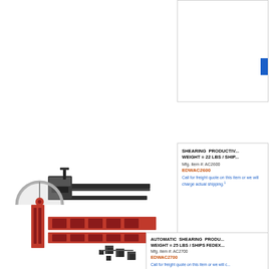[Figure (photo): Partially visible product listing box at top right with a blue button]
[Figure (photo): Shearing productivity kit with red slotted fence rails, angle guide, clamps, black brackets and hardware components spread out]
SHEARING PRODUCTIVITY... WEIGHT = 22 LBS / SHIP...
Mfg. item #: AC2600
EDWAC2600
Call for freight quote on this item or we will charge actual shipping.¹
AUTOMATIC SHEARING PRODU...
WEIGHT = 25 LBS / SHIPS FEDEX...
Mfg. item #: AC2700
EDWAC2700
Call for freight quote on this item or we will c...